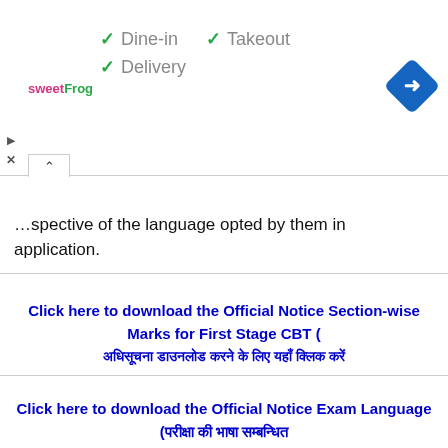[Figure (infographic): Ad banner showing sweetFrog logo with checkmarks for Dine-in, Takeout, Delivery options and a blue diamond arrow icon]
…spective of the language opted by them in application.
Click here to download the Official Noti Section-wise Marks for First Stage CBT ( [Hindi text link]
Click here to download the Official Notice Exam Language (परीक्षा की भाषा सम्बन्धी [Hindi text])
◆ Computer Based Aptitude Test Pattern ◆